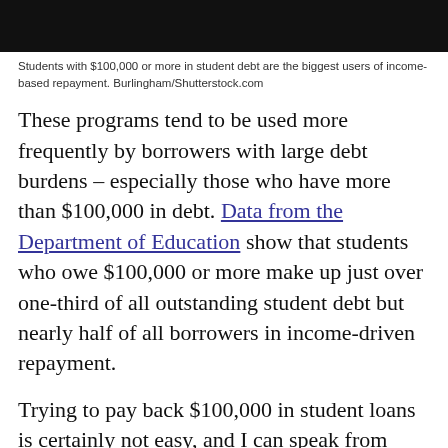[Figure (photo): Dark/black photo strip at top of page, appears to be a cropped photograph with dark tones]
Students with $100,000 or more in student debt are the biggest users of income-based repayment. Burlingham/Shutterstock.com
These programs tend to be used more frequently by borrowers with large debt burdens – especially those who have more than $100,000 in debt. Data from the Department of Education show that students who owe $100,000 or more make up just over one-third of all outstanding student debt but nearly half of all borrowers in income-driven repayment.
Trying to pay back $100,000 in student loans is certainly not easy, and I can speak from experience thanks to my wife's law school debt. But most of the borrowers with large student debt burdens tend to be professionals with graduate degrees and reasonably high incomes. Many of the borrowers